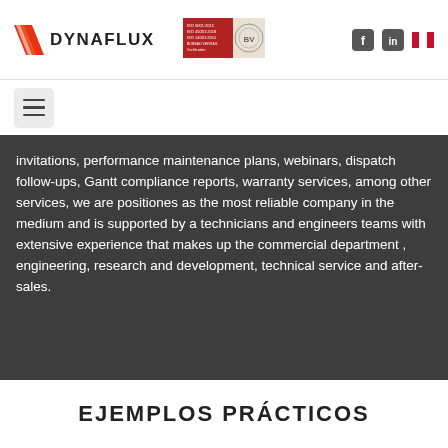DYNAFLUX
invitations, performance maintenance plans, webinars, dispatch follow-ups, Gantt compliance reports, warranty services, among other services, we are positiones as the most reliable company in the medium and is supported by a technicians and engineers teams with extensive experience that makes up the commercial department , engineering, research and development, technical service and after-sales.
EJEMPLOS PRÁCTICOS